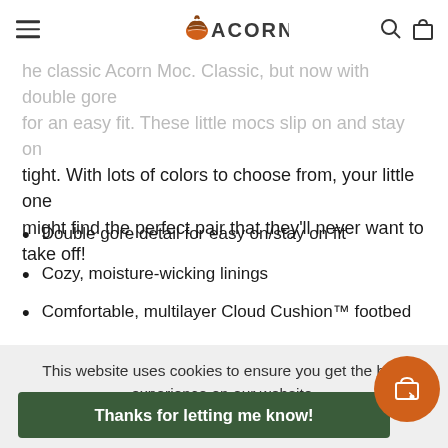ACORN
The classic Acorn Moc. Classic, but now with double gore for an easy fit. These little mocs slip on and stay on tight. With lots of colors to choose from, your little one might find the perfect pair that they'll never want to take off!
Double gore detail for easy on/stay on fit
Cozy, moisture-wicking linings
Comfortable, multilayer Cloud Cushion™ footbed
This website uses cookies to ensure you get the best experience on our website.
Learn more
Thanks for letting me know!